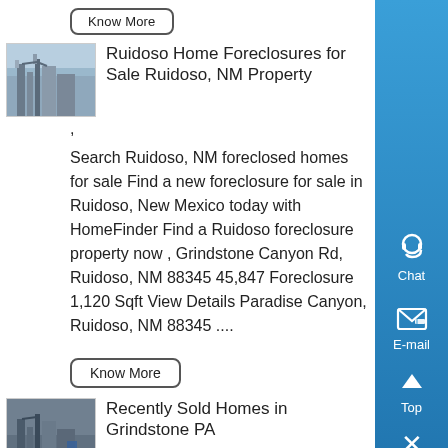Know More
Ruidoso Home Foreclosures for Sale Ruidoso, NM Property
,
Search Ruidoso, NM foreclosed homes for sale Find a new foreclosure for sale in Ruidoso, New Mexico today with HomeFinder Find a Ruidoso foreclosure property now , Grindstone Canyon Rd, Ruidoso, NM 88345 45,847 Foreclosure 1,120 Sqft View Details Paradise Canyon, Ruidoso, NM 88345 ....
Know More
Recently Sold Homes in Grindstone PA
Jun 01, 2020 0183 32 Browse data on